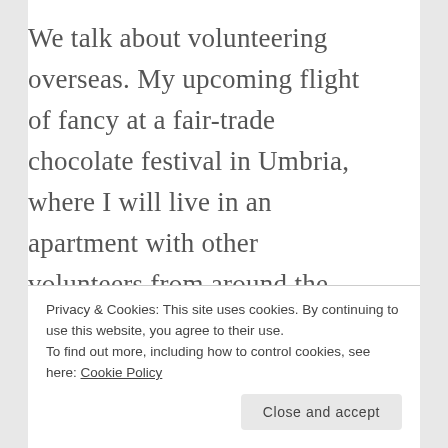We talk about volunteering overseas. My upcoming flight of fancy at a fair-trade chocolate festival in Umbria, where I will live in an apartment with other volunteers from around the globe, and play out my “I live in Europe” fantasy.  I tell her about volunteering in Rwanda and in the South of France. I...
Privacy & Cookies: This site uses cookies. By continuing to use this website, you agree to their use.
To find out more, including how to control cookies, see here: Cookie Policy
Close and accept